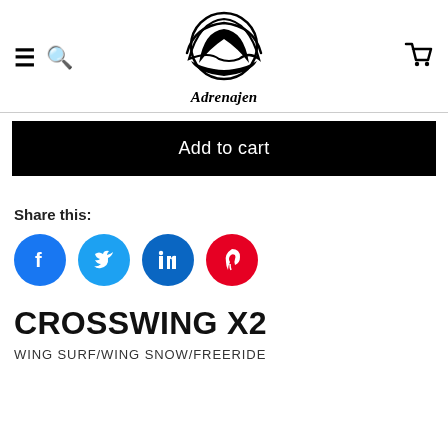Adrenajen
Add to cart
Share this:
[Figure (infographic): Social share buttons: Facebook (blue), Twitter (light blue), LinkedIn (dark blue), Pinterest (red)]
CROSSWING X2
WING SURF/WING SNOW/FREERIDE